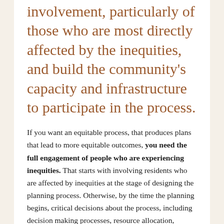involvement, particularly of those who are most directly affected by the inequities, and build the community's capacity and infrastructure to participate in the process.
If you want an equitable process, that produces plans that lead to more equitable outcomes, you need the full engagement of people who are experiencing inequities. That starts with involving residents who are affected by inequities at the stage of designing the planning process. Otherwise, by the time the planning begins, critical decisions about the process, including decision making processes, resource allocation, timelines,